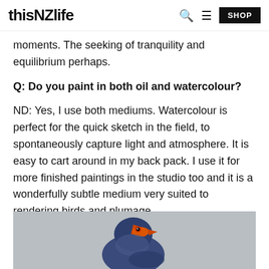thisNZlife
moments. The seeking of tranquility and equilibrium perhaps.
Q: Do you paint in both oil and watercolour?
ND: Yes, I use both mediums. Watercolour is perfect for the quick sketch in the field, to spontaneously capture light and atmosphere. It is easy to cart around in my back pack. I use it for more finished paintings in the studio too and it is a wonderfully subtle medium very suited to rendering birds and plumage.
[Figure (photo): Close-up photo of a pukeko (New Zealand swamphen) bird with blue-purple plumage and orange-red beak, on a grey background.]